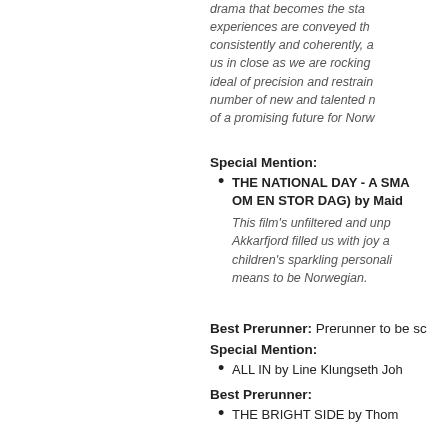drama that becomes the sta... experiences are conveyed th... consistently and coherently, a... us in close as we are rocking... ideal of precision and restrain... number of new and talented n... of a promising future for Norw...
Special Mention:
THE NATIONAL DAY - A SMA... OM EN STOR DAG) by Maid...
This film's unfiltered and unp... Akkarfjord filled us with joy a... children's sparkling personali... means to be Norwegian.
Best Prerunner: Prerunner to be sc...
Special Mention:
ALL IN by Line Klungseth Joh...
Best Prerunner:
THE BRIGHT SIDE by Thom...
One minute film Competitio...